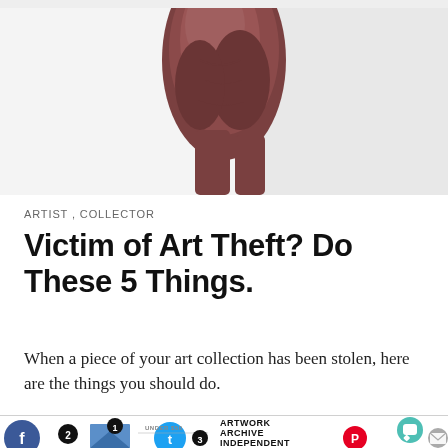[Figure (photo): Partial view of a dark brown elephant torso/body against a light grey-white background, cropped to show only the middle section of the animal]
ARTIST , COLLECTOR
Victim of Art Theft? Do These 5 Things.
When a piece of your art collection has been stolen, here are the things you should do.
[Figure (infographic): Bottom advertisement banner for Artwork Archive Independent Artist featuring social media icons (Facebook, Twitter, Pinterest), numbered item callouts (1, 2, 3), artwork thumbnails, price tag UNDER $50, and a chat/message icon on the right]